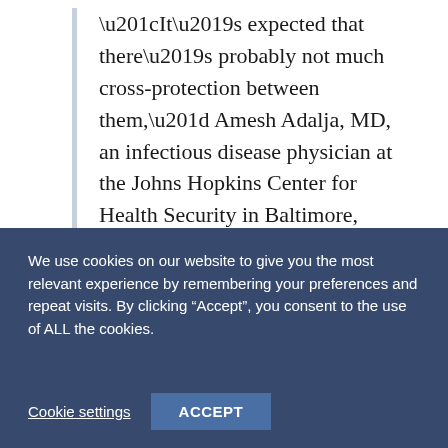“It’s expected that there’s probably not much cross-protection between them,” Amesh Adalja, MD, an infectious disease physician at the Johns Hopkins Center for Health Security in Baltimore, told MedPage Today.
The American Hospital Association tells us
We use cookies on our website to give you the most relevant experience by remembering your preferences and repeat visits. By clicking “Accept”, you consent to the use of ALL the cookies.